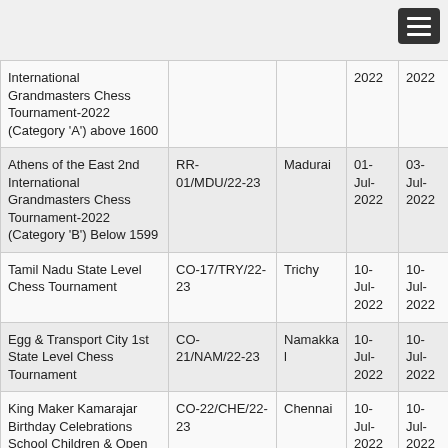| Tournament Name | Reference No. | Venue | Start Date | End Date |
| --- | --- | --- | --- | --- |
| International Grandmasters Chess Tournament-2022 (Category 'A') above 1600 |  |  | 2022 | 2022 |
| Athens of the East 2nd International Grandmasters Chess Tournament-2022 (Category 'B') Below 1599 | RR-01/MDU/22-23 | Madurai | 01-Jul-2022 | 03-Jul-2022 |
| Tamil Nadu State Level Chess Tournament | CO-17/TRY/22-23 | Trichy | 10-Jul-2022 | 10-Jul-2022 |
| Egg & Transport City 1st State Level Chess Tournament | CO-21/NAM/22-23 | Namakkal | 10-Jul-2022 | 10-Jul-2022 |
| King Maker Kamarajar Birthday Celebrations School Children & Open Chess Tournament 2022 | CO-22/CHE/22-23 | Chennai | 10-Jul-2022 | 10-Jul-2022 |
| TKCA & ABCCC Tamilnadu State Level Chess Tournament | CO-24/TPR/22-23 | Tirupur | 10-Jul-2022 | 10-Jul-2022 |